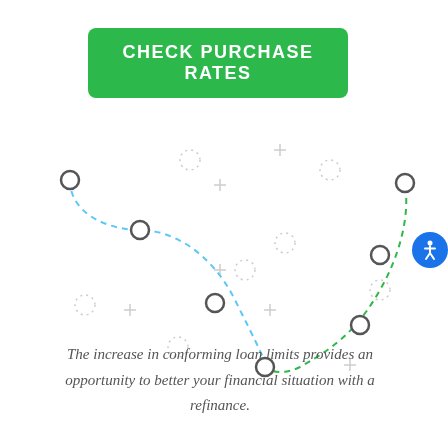[Figure (infographic): Green button with white bold uppercase text reading CHECK PURCHASE RATES on a green rounded rectangle background]
[Figure (illustration): Abstract dashed curved path illustration with circular waypoints, transitioning from blue dashed line on the left to green dashed line on the right, with decorative plus signs and dotted circle patterns scattered in the background]
The increase in conforming loan limits provides an opportunity to better your financial situation with a refinance.